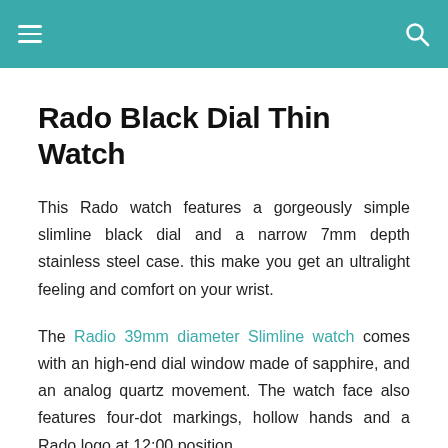≡  🔍
Rado Black Dial Thin Watch
This Rado watch features a gorgeously simple slimline black dial and a narrow 7mm depth stainless steel case. this make you get an ultralight feeling and comfort on your wrist.
The Radio 39mm diameter Slimline watch comes with an high-end dial window made of sapphire, and an analog quartz movement. The watch face also features four-dot markings, hollow hands and a Rado logo at 12:00 position.